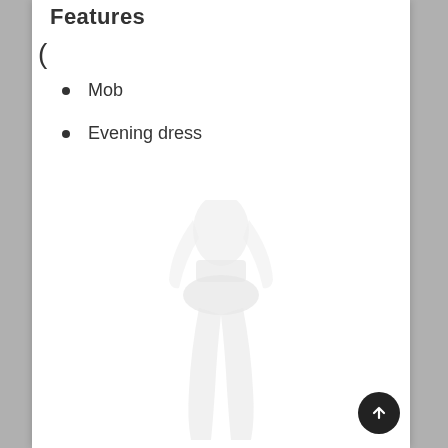Features
Mob
Evening dress
[Figure (illustration): Faint silhouette of a person wearing pants/leggings, rendered in very light gray against white background]